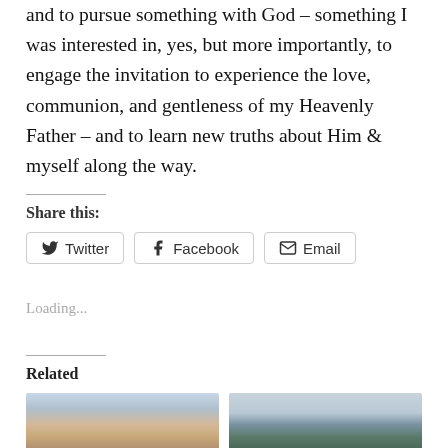and to pursue something with God – something I was interested in, yes, but more importantly, to engage the invitation to experience the love, communion, and gentleness of my Heavenly Father – and to learn new truths about Him & myself along the way.
Share this:
Twitter | Facebook | Email
Loading...
Related
[Figure (photo): Sunset over water with reflections, warm orange and blue tones]
[Figure (photo): Blue-green mountain range with misty hills and cloudy sky]